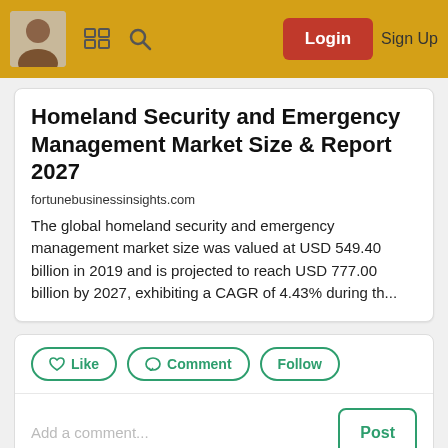Login  Sign Up
Homeland Security and Emergency Management Market Size & Report 2027
fortunebusinessinsights.com
The global homeland security and emergency management market size was valued at USD 549.40 billion in 2019 and is projected to reach USD 777.00 billion by 2027, exhibiting a CAGR of 4.43% during th...
Like  Comment  Follow
Add a comment...  Post
Share Post